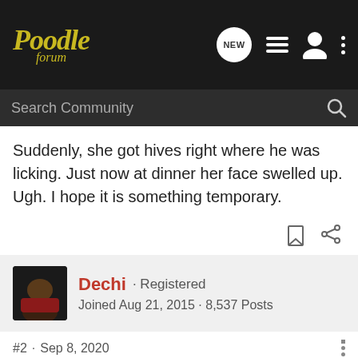Poodle forum
Search Community
Suddenly, she got hives right where he was licking. Just now at dinner her face swelled up. Ugh. I hope it is something temporary.
Dechi · Registered
Joined Aug 21, 2015 · 8,537 Posts
#2 · Sep 8, 2020
Let's hope it is. I get itchy when my dogs lick my skin or even sometimes from touching them, then my skin. I don't let my dogs lick me (but they still do) and I wash my hands every time I pet them, before touching my face.